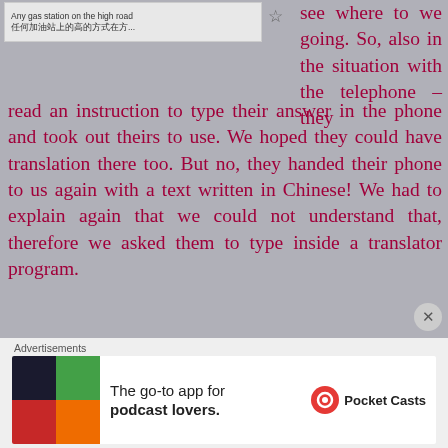[Figure (screenshot): Thumbnail of a webpage or app card showing text 'Any gas station on the high road' and Chinese text '任何加油站上的高的方式在方...' with a star/bookmark icon]
see where to we going. So, also in the situation with the telephone – they read an instruction to type their answer in the phone and took out theirs to use. We hoped they could have translation there too. But no, they handed their phone to us again with a text written in Chinese! We had to explain again that we could not understand that, therefore we asked them to type inside a translator program.
Будучи в паре, мы использовали два телефона, чтобы не переключаться между языками. И тогда я писала: "пожалуйста, напишите свой ответ в телефоне моей подруги, и система переведет нам его". Есть такая особенность у китайцев – скорее понять и бежать уже
Advertisements
[Figure (infographic): Advertisement banner for Pocket Casts app with colorful icon and text 'The go-to app for podcast lovers. Pocket Casts']